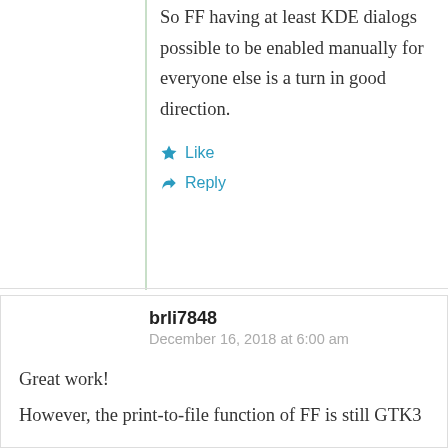So FF having at least KDE dialogs possible to be enabled manually for everyone else is a turn in good direction.
★ Like
↳ Reply
brli7848
December 16, 2018 at 6:00 am
Great work!
However, the print-to-file function of FF is still GTK3